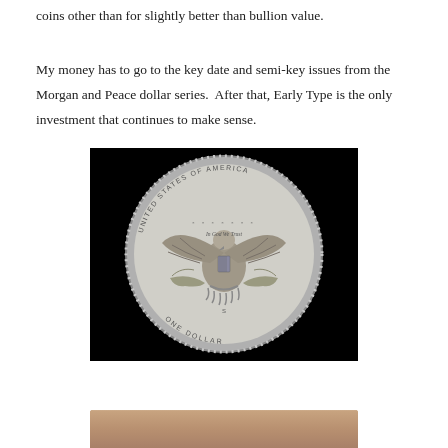coins other than for slightly better than bullion value.
My money has to go to the key date and semi-key issues from the Morgan and Peace dollar series.  After that, Early Type is the only investment that continues to make sense.
[Figure (photo): Reverse side of a Morgan silver dollar coin showing eagle design with 'In God We Trust' inscription, 'United States of America' around the rim, and 'One Dollar' at the bottom, photographed against a black background.]
[Figure (photo): Partial view of another coin, partially cut off at the bottom of the page, showing a reddish/copper-toned coin surface.]